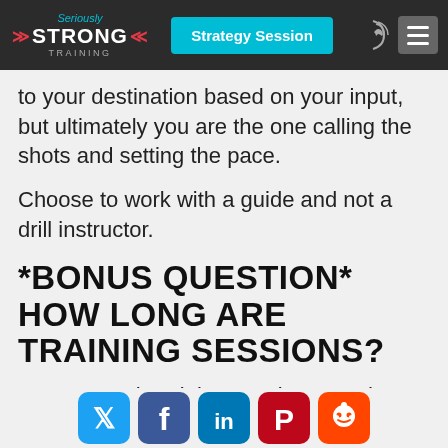Seriously Strong Training | Strategy Session
to your destination based on your input, but ultimately you are the one calling the shots and setting the pace.
Choose to work with a guide and not a drill instructor.
*BONUS QUESTION* HOW LONG ARE TRAINING SESSIONS?
Your strength training sessions need to last long enough for both a quality workout and education.